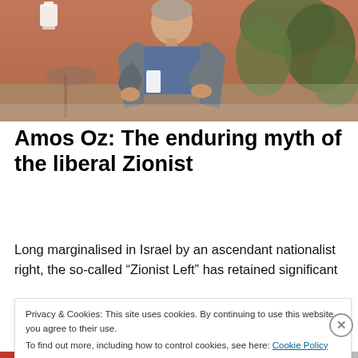[Figure (photo): Photograph of an elderly man in a gray jacket and blue top, standing in an outdoor garden setting with plants and ornamental items in the background.]
Amos Oz: The enduring myth of the liberal Zionist
Long marginalised in Israel by an ascendant nationalist right, the so-called “Zionist Left” has retained significant
Privacy & Cookies: This site uses cookies. By continuing to use this website, you agree to their use.
To find out more, including how to control cookies, see here: Cookie Policy